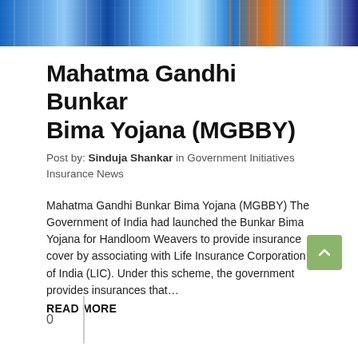[Figure (photo): Colorful woven textile/handloom fabric header image with blue, orange and multicolor ikat pattern]
Mahatma Gandhi Bunkar Bima Yojana (MGBBY)
Post by: Sinduja Shankar in Government Initiatives Insurance News
Mahatma Gandhi Bunkar Bima Yojana (MGBBY) The Government of India had launched the Bunkar Bima Yojana for Handloom Weavers to provide insurance cover by associating with Life Insurance Corporation of India (LIC). Under this scheme, the government provides insurances that...
READ MORE
0